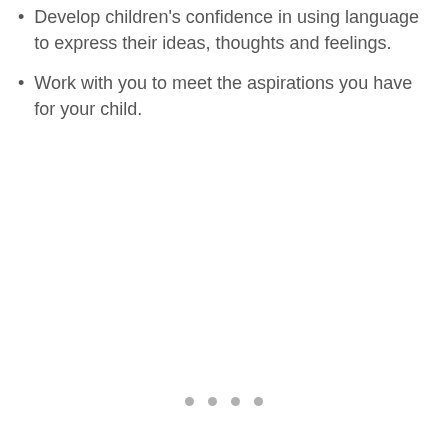Develop children's confidence in using language to express their ideas, thoughts and feelings.
Work with you to meet the aspirations you have for your child.